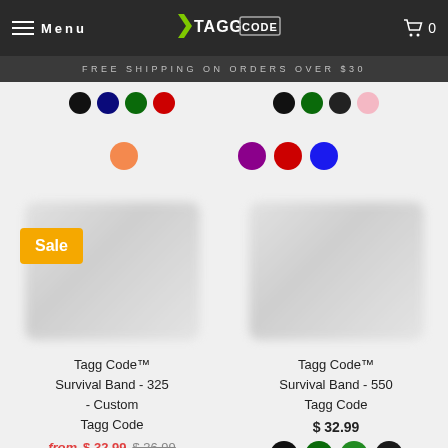Menu | TAGG CODE | Cart 0
FREE SHIPPING ON ORDERS OVER $30
[Figure (other): Color swatches row - black, navy, green, red (left) and black, green, dark, pink (right)]
[Figure (other): Color swatches row - orange (left) and purple, red, blue (right)]
[Figure (other): Product image - blurred survival band with Sale badge]
[Figure (other): Product image - blurred survival band]
Tagg Code™ Survival Band - 325 - Custom Tagg Code
Tagg Code™ Survival Band - 550 Tagg Code
from $ 32.99  $ 36.99
$ 32.99
[Figure (other): Color swatches - black, green, green, black (top row); gold, pink, purple, red (bottom row)]